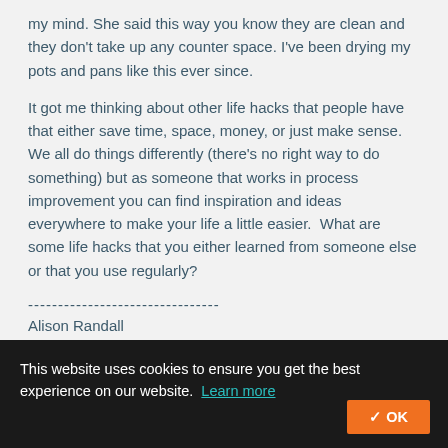my mind. She said this way you know they are clean and they don't take up any counter space. I've been drying my pots and pans like this ever since.
It got me thinking about other life hacks that people have that either save time, space, money, or just make sense. We all do things differently (there's no right way to do something) but as someone that works in process improvement you can find inspiration and ideas everywhere to make your life a little easier.  What are some life hacks that you either learned from someone else or that you use regularly?
--------------------------------
Alison Randall
--------------------------------
This website uses cookies to ensure you get the best experience on our website. Learn more